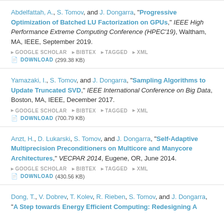Abdelfattah, A., S. Tomov, and J. Dongarra, "Progressive Optimization of Batched LU Factorization on GPUs," IEEE High Performance Extreme Computing Conference (HPEC'19), Waltham, MA, IEEE, September 2019. GOOGLE SCHOLAR BIBTEX TAGGED XML DOWNLOAD (299.38 KB)
Yamazaki, I., S. Tomov, and J. Dongarra, "Sampling Algorithms to Update Truncated SVD," IEEE International Conference on Big Data, Boston, MA, IEEE, December 2017. GOOGLE SCHOLAR BIBTEX TAGGED XML DOWNLOAD (700.79 KB)
Anzt, H., D. Lukarski, S. Tomov, and J. Dongarra, "Self-Adaptive Multiprecision Preconditioners on Multicore and Manycore Architectures," VECPAR 2014, Eugene, OR, June 2014. GOOGLE SCHOLAR BIBTEX TAGGED XML DOWNLOAD (430.56 KB)
Dong, T., V. Dobrev, T. Kolev, R. Rieben, S. Tomov, and J. Dongarra, "A Step towards Energy Efficient Computing: Redesigning A...